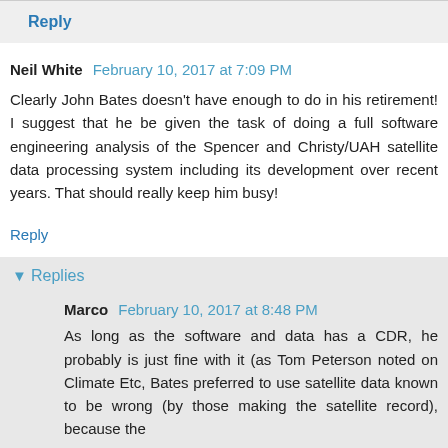Reply
Neil White  February 10, 2017 at 7:09 PM
Clearly John Bates doesn't have enough to do in his retirement! I suggest that he be given the task of doing a full software engineering analysis of the Spencer and Christy/UAH satellite data processing system including its development over recent years. That should really keep him busy!
Reply
Replies
Marco  February 10, 2017 at 8:48 PM
As long as the software and data has a CDR, he probably is just fine with it (as Tom Peterson noted on Climate Etc, Bates preferred to use satellite data known to be wrong (by those making the satellite record), because the